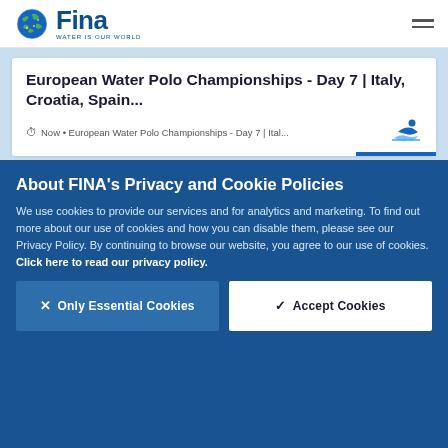FINA - Water Is Our World
European Water Polo Championships - Day 7 | Italy, Croatia, Spain...
Now • European Water Polo Championships - Day 7 | Ital...
About FINA's Privacy and Cookie Policies
We use cookies to provide our services and for analytics and marketing. To find out more about our use of cookies and how you can disable them, please see our Privacy Policy. By continuing to browse our website, you agree to our use of cookies. Click here to read our privacy policy.
× Only Essential Cookies
✓ Accept Cookies